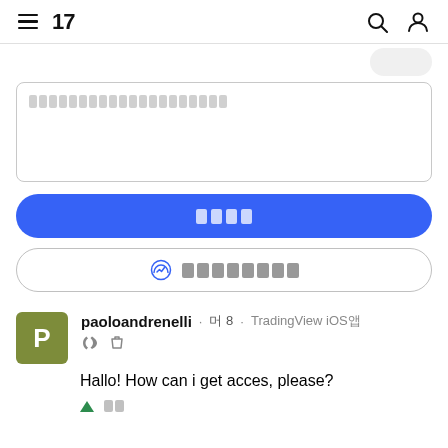TradingView navigation header with hamburger menu, TV logo, search and user icons
[Figure (screenshot): Partial button element at top right]
Text input area with placeholder blocks
Primary button (blue, rounded)
Secondary button with Messenger icon
paoloandrenelli · 머 8 · TradingView iOS앱
Hallo! How can i get acces, please?
Vote up · 머